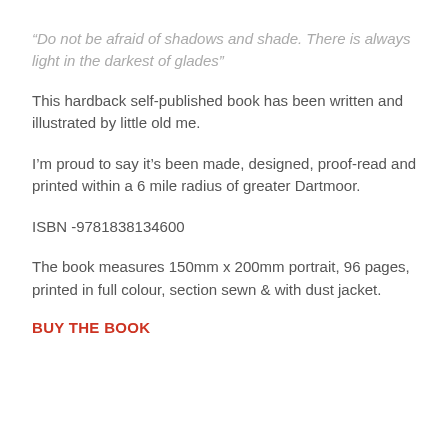“Do not be afraid of shadows and shade. There is always light in the darkest of glades”
This hardback self-published book has been written and illustrated by little old me.
I’m proud to say it’s been made, designed, proof-read and printed within a 6 mile radius of greater Dartmoor.
ISBN -9781838134600
The book measures 150mm x 200mm portrait, 96 pages, printed in full colour, section sewn & with dust jacket.
BUY THE BOOK